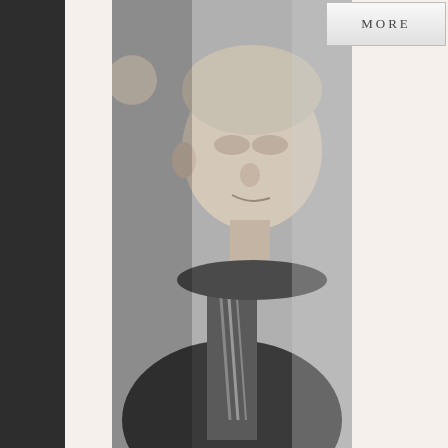[Figure (photo): Black and white portrait photo of an elderly man in a suit and tie, looking slightly to the side]
[Figure (other): Button labeled MORE]
[Figure (photo): Photo of a lit candle with flame against a dark background]
IMOGENE WILHELM MARES
Posted by Crowder Funeral Home - Clear Lake
Imogene Wilhelm Mares died on Ma... September 3, 1922 in Greensville, T... Wilhelm. Most of her childhood was...
[Figure (other): Button labeled MORE]